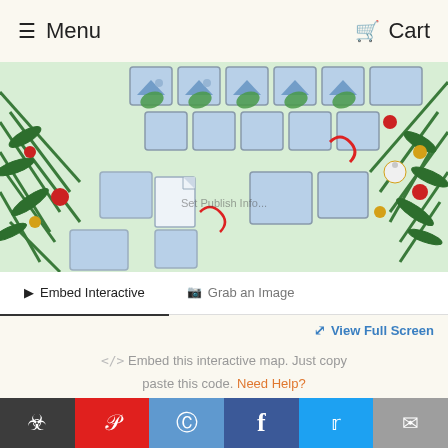Menu   Cart
[Figure (photo): Christmas-themed interactive map of the US showing candy popularity by state, with holiday decorations (pine branches, ornaments, candy canes) around the edges and a Candy Store logo.]
Embed Interactive   Grab an Image
View Full Screen
</>  Embed this interactive map. Just copy paste this code. Need Help?
Email me: ben@candystore.com
Embed map   ="candystore-map" style="position:
Most Popular Christmas